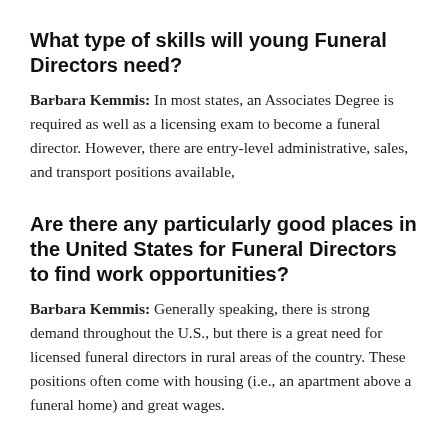What type of skills will young Funeral Directors need?
Barbara Kemmis: In most states, an Associates Degree is required as well as a licensing exam to become a funeral director. However, there are entry-level administrative, sales, and transport positions available,
Are there any particularly good places in the United States for Funeral Directors to find work opportunities?
Barbara Kemmis: Generally speaking, there is strong demand throughout the U.S., but there is a great need for licensed funeral directors in rural areas of the country. These positions often come with housing (i.e., an apartment above a funeral home) and great wages.